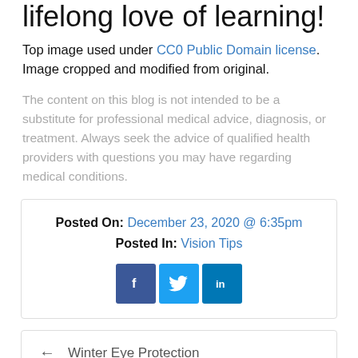lifelong love of learning!
Top image used under CC0 Public Domain license. Image cropped and modified from original.
The content on this blog is not intended to be a substitute for professional medical advice, diagnosis, or treatment. Always seek the advice of qualified health providers with questions you may have regarding medical conditions.
Posted On: December 23, 2020 @ 6:35pm
Posted In: Vision Tips
[Figure (infographic): Social media share buttons: Facebook, Twitter, LinkedIn]
← Winter Eye Protection